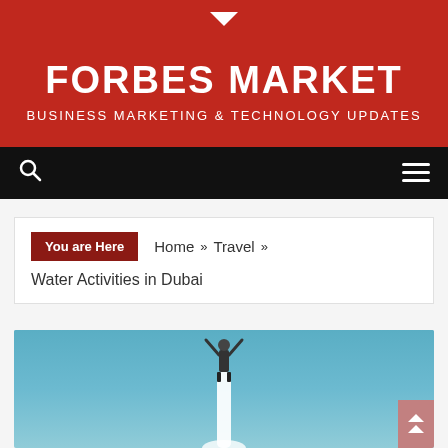▼
FORBES MARKET
BUSINESS MARKETING & TECHNOLOGY UPDATES
Navigation bar with search and menu icons
You are Here  Home »  Travel »  Water Activities in Dubai
[Figure (photo): Person flyboarding high above water with a jet of water propelling them upward, against a clear blue sky background.]